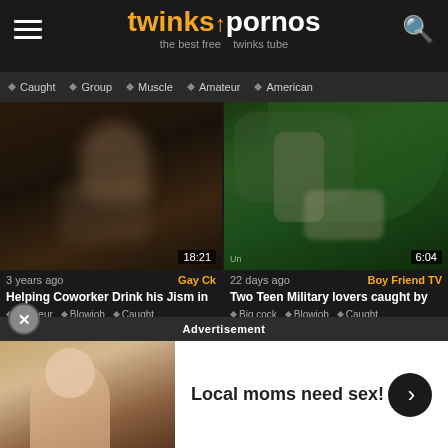twinkspornos — the best free twinks tube
Caught  Group  Muscle  Amateur  American
[Figure (screenshot): Video thumbnail: two figures, blurred faces, indoor scene. Duration 18:21. Age: 3 years ago. Channel: Gay Ck. Title: Helping Coworker Drink his Jism in. Tags: Amateur, Blowjob, Caught]
[Figure (screenshot): Video thumbnail: military-uniformed figures outdoors in trees. Duration 6:04. Age: 22 days ago. Channel: Boy Friend TV. Title: Two Teen Military lovers caught by. Tags: Big cock, Blowjob, Caught]
[Figure (screenshot): Video thumbnail partial: lower portion visible, dark tones]
[Figure (screenshot): Video thumbnail partial: dark tones, partially obscured by ad]
Advertisement
Local moms need sex!